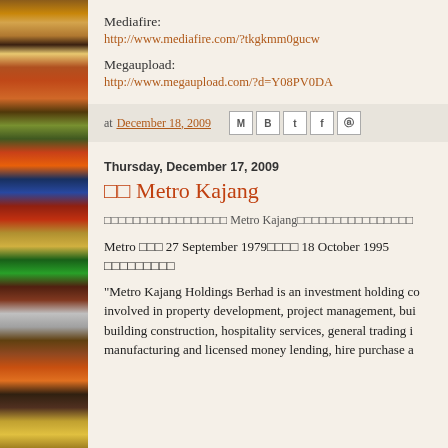Mediafire:
http://www.mediafire.com/?tkgkmm0gucw
Megaupload:
http://www.megaupload.com/?d=Y08PV0DA
at December 18, 2009
Thursday, December 17, 2009
□□ Metro Kajang
□□□□□□□□□□□□□□□□□ Metro Kajang□□□□□□□□□□□□□□□□
Metro □□□ 27 September 1979□□□□ 18 October 1995 □□□□□□□□□
"Metro Kajang Holdings Berhad is an investment holding co involved in property development, project management, bui building construction, hospitality services, general trading i manufacturing and licensed money lending, hire purchase a